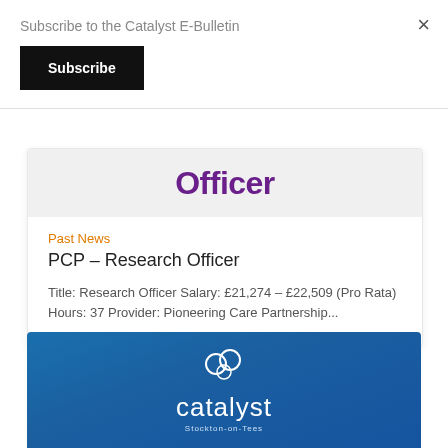Subscribe to the Catalyst E-Bulletin
Subscribe
×
[Figure (other): Partial heading showing the word 'Officer' in bold purple text on a white/light grey card background]
Past News
PCP – Research Officer
Title: Research Officer Salary: £21,274 – £22,509 (Pro Rata) Hours: 37 Provider: Pioneering Care Partnership...
[Figure (logo): Catalyst Stockton-on-Tees logo in white on a blue gradient background, with circular decorative elements above the text]